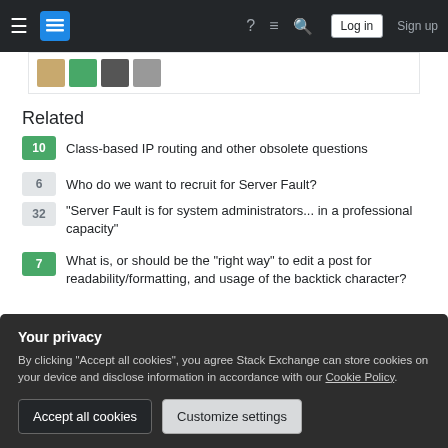Stack Exchange navigation bar with Log in and Sign up buttons
[Figure (screenshot): User avatar thumbnails strip]
Related
10 Class-based IP routing and other obsolete questions
6 Who do we want to recruit for Server Fault?
32 "Server Fault is for system administrators... in a professional capacity"
7 What is, or should be the "right way" to edit a post for readability/formatting, and usage of the backtick character?
Your privacy
By clicking "Accept all cookies", you agree Stack Exchange can store cookies on your device and disclose information in accordance with our Cookie Policy.
Accept all cookies  Customize settings
2 Is [filter] about [filtering]?